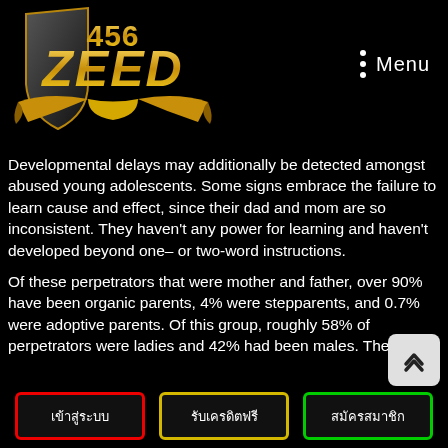[Figure (logo): 456 ZEED gold logo with shield and ribbon on black background]
Menu
Developmental delays may additionally be detected amongst abused young adolescents. Some signs embrace the failure to learn cause and effect, since their dad and mom are so inconsistent. They haven't any power for learning and haven't developed beyond one- or two-word instructions.
Of these perpetrators that were mother and father, over 90% have been organic parents, 4% were stepparents, and 0.7% were adoptive parents. Of this group, roughly 58% of perpetrators were ladies and 42% had been males. The
เข้าสู่ระบบ
รับเครดิตฟรี
สมัครสมาชิก